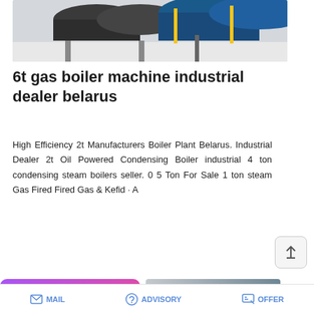[Figure (photo): Industrial boiler machines in a factory setting, showing large cylindrical boilers on a white floor]
6t gas boiler machine industrial dealer belarus
High Efficiency 2t Manufacturers Boiler Plant Belarus. Industrial Dealer 2t Oil Powered Condensing Boiler industrial 4 ton condensing steam boilers seller. 0 5 Ton For Sale 1 ton steam Gas Fired Fired Gas & Kefid · A
[Figure (screenshot): READ MORE button in blue rounded rectangle]
[Figure (infographic): Save Stickers on WhatsApp promotional banner with purple-pink gradient, WhatsApp phone icon and emoji icon]
[Figure (photo): Hardware parts/screws product image]
MAIL   ADVISORY   OFFER